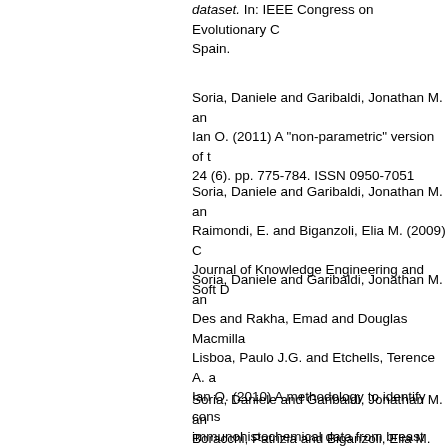dataset. In: IEEE Congress on Evolutionary Computation (CEC 2011), Omakaya, Spain.
Soria, Daniele and Garibaldi, Jonathan M. and ... Ian O. (2011) A "non-parametric" version of the ... 24 (6). pp. 775-784. ISSN 0950-7051
Soria, Daniele and Garibaldi, Jonathan M. and ... Raimondi, E. and Biganzoli, Elia M. (2009) C... Journal of Knowledge Engineering and Soft D...
Soria, Daniele and Garibaldi, Jonathan M. and ... Des and Rakha, Emad and Douglas Macmilla... Lisboa, Paulo J.G. and Etchells, Terence A. a... Ian O. (2010) A methodology to identify cons... immunohistochemical data from breast cance... pp. 318-330. ISSN 0010-4825
Soria, Daniele and Garibaldi, Jonathan M. and ... Boracchi, Patrizia and Biganzoli, Elia M. (200... different validity indices. In: International Con... Information Processing (4th), 14-16 July 200...
Soria, Daniele and Garibaldi, Jonathan M. and ... comparison of three different methods for cla... and Applications 2008 (ICMLA'08) Seventh I... Conference on Machine Learning and Applic...
Soria, Daniele and Garibaldi, Jonathan M. and ...